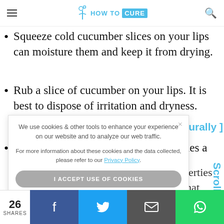HOW TO CURE
Squeeze cold cucumber slices on your lips can moisture them and keep it from drying.
Rub a slice of cucumber on your lips. It is best to dispose of irritation and dryness.
You can utilize this for around 1-2 times a day.
We use cookies & other tools to enhance your experience on our website and to analyze our web traffic.

For more information about these cookies and the data collected, please refer to our Privacy Policy.
I ACCEPT USE OF COOKIES